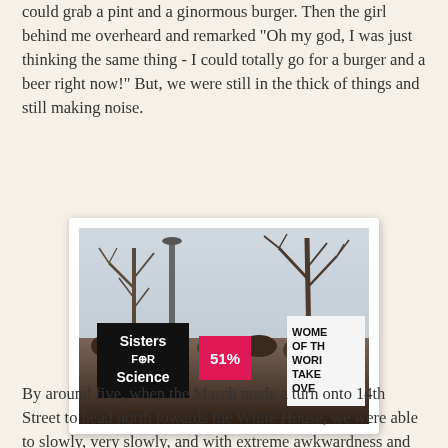could grab a pint and a ginormous burger. Then the girl behind me overheard and remarked "Oh my god, I was just thinking the same thing - I could totally go for a burger and a beer right now!" But, we were still in the thick of things and still making noise.
[Figure (photo): Protest march photo showing crowd holding signs including 'Sisters FOR Science', '51%', and 'WOMEN OF THE WORLD TAKE OVER', with bare winter trees and a lamppost in the background against an overcast sky.]
By around five, when the March made a turn onto 14th Street to head north towards the White House, we were able to slowly, very slowly, and with extreme awkwardness and